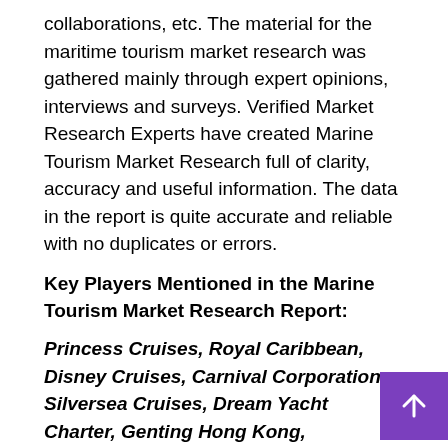collaborations, etc. The material for the maritime tourism market research was gathered mainly through expert opinions, interviews and surveys. Verified Market Research Experts have created Marine Tourism Market Research full of clarity, accuracy and useful information. The data in the report is quite accurate and reliable with no duplicates or errors.
Key Players Mentioned in the Marine Tourism Market Research Report:
Princess Cruises, Royal Caribbean, Disney Cruises, Carnival Corporation, Silversea Cruises, Dream Yacht Charter, Genting Hong Kong, Norwegian Cruise Lines, MSc Cruises, Cunard Cruise.
Maritime Tourism Market Segmentation: